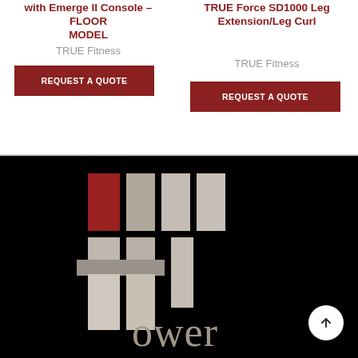with Emerge II Console – FLOOR MODEL
TRUE Fitness
REQUEST A QUOTE
TRUE Force SD1000 Leg Extension/Leg Curl
TRUE Fitness
REQUEST A QUOTE
[Figure (logo): Tower logo on black background — grid of rectangles (one red, others gray/white shades) forming a T shape, with the word 'tower' in lowercase gray letters below]